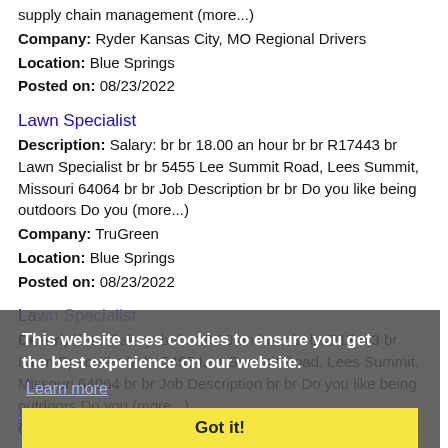supply chain management (more...)
Company: Ryder Kansas City, MO Regional Drivers
Location: Blue Springs
Posted on: 08/23/2022
Lawn Specialist
Description: Salary: br br 18.00 an hour br br R17443 br Lawn Specialist br br 5455 Lee Summit Road, Lees Summit, Missouri 64064 br br Job Description br br Do you like being outdoors Do you (more...)
Company: TruGreen
Location: Blue Springs
Posted on: 08/23/2022
La[wn Specialist]
Description: Salary: br br 18.00 an hour br br R17443 br Lawn Specialist br br 5455 Lee Summit Road, Lees Summit, Missouri 64064 br br Job Description br br Do you like being outdoors Do you (more...)
Company: TruGreen
Location: Blue Springs
Posted on: 08/23/2022
This website uses cookies to ensure you get the best experience on our website.
Learn more
Got it!
Salary in Kansas City, Kansas Area | More details for